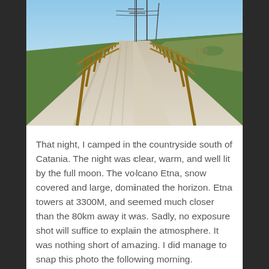[Figure (photo): A paved coastal path or boardwalk with wooden rail fences on both sides, stretching toward the horizon. Green grass and rocky coastline on the right, blue sea visible in the distance. Utility poles with wires overhead. Clear blue sky. Shadows cast on the path from bright morning sunlight.]
That night, I camped in the countryside south of Catania. The night was clear, warm, and well lit by the full moon. The volcano Etna, snow covered and large, dominated the horizon. Etna towers at 3300M, and seemed much closer than the 80km away it was. Sadly, no exposure shot will suffice to explain the atmosphere. It was nothing short of amazing. I did manage to snap this photo the following morning.